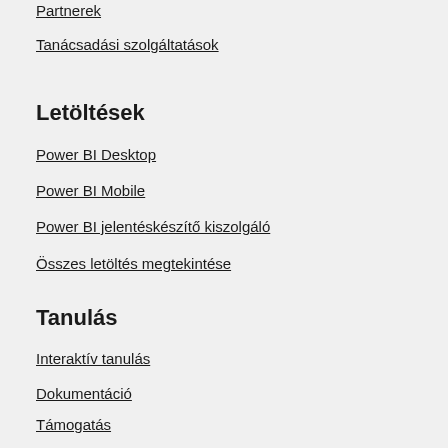Partnerek
Tanácsadási szolgáltatások
Letöltések
Power BI Desktop
Power BI Mobile
Power BI jelentéskészítő kiszolgáló
Összes letöltés megtekintése
Tanulás
Interaktív tanulás
Dokumentáció
Támogatás
Közösség